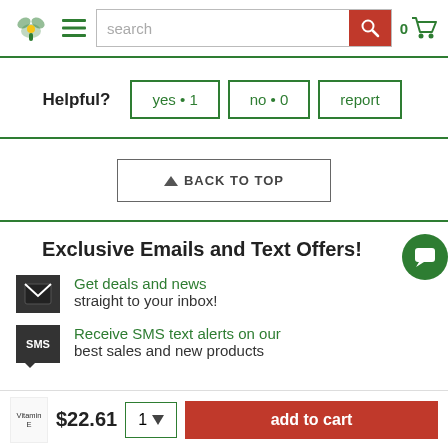search
Helpful? yes • 1   no • 0   report
BACK TO TOP
Exclusive Emails and Text Offers!
Get deals and news straight to your inbox!
Receive SMS text alerts on our best sales and new products
$22.61  1  add to cart